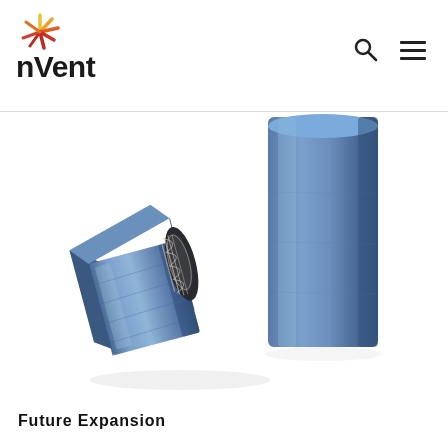nVent
[Figure (photo): Two blue metallic threaded coupling/expansion fittings — one lying on its side showing internal threading and hexagonal exterior, one standing upright showing cylindrical exterior. Both are steel blue in color.]
Future Expansion